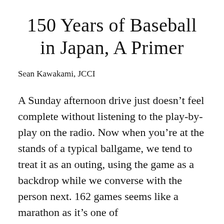150 Years of Baseball in Japan, A Primer
Sean Kawakami, JCCI
A Sunday afternoon drive just doesn't feel complete without listening to the play-by-play on the radio. Now when you're at the stands of a typical ballgame, we tend to treat it as an outing, using the game as a backdrop while we converse with the person next. 162 games seems like a marathon as it's one of